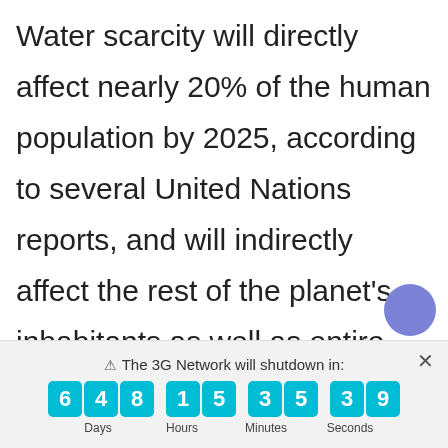Water scarcity will directly affect nearly 20% of the human population by 2025, according to several United Nations reports, and will indirectly affect the rest of the planet's inhabitants as well as entire economies and ecosystems.
Smart water systems based on the
⚠ The 3G Network will shutdown in: 6 4 8 Days · 1 5 Hours · 3 5 Minutes · 3 9 Seconds